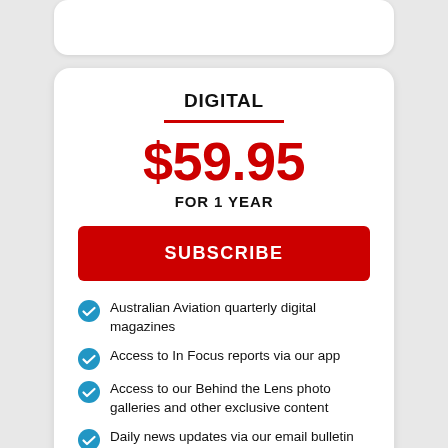DIGITAL
$59.95
FOR 1 YEAR
SUBSCRIBE
Australian Aviation quarterly digital magazines
Access to In Focus reports via our app
Access to our Behind the Lens photo galleries and other exclusive content
Daily news updates via our email bulletin